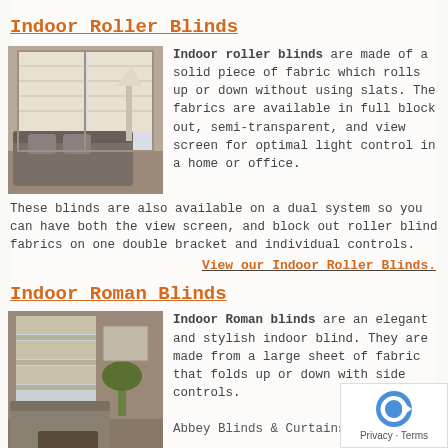Indoor Roller Blinds
[Figure (photo): Living room with roller blinds on windows, grey sofa]
Indoor roller blinds are made of a solid piece of fabric which rolls up or down without using slats. The fabrics are available in full block out, semi-transparent, and view screen for optimal light control in a home or office.
These blinds are also available on a dual system so you can have both the view screen, and block out roller blind fabrics on one double bracket and individual controls.
View our Indoor Roller Blinds.
Indoor Roman Blinds
[Figure (photo): Living room with roman blinds on windows, modern interior]
Indoor Roman blinds are an elegant and stylish indoor blind. They are made from a large sheet of fabric that folds up or down with side controls.
Abbey Blinds & Curtains offer a